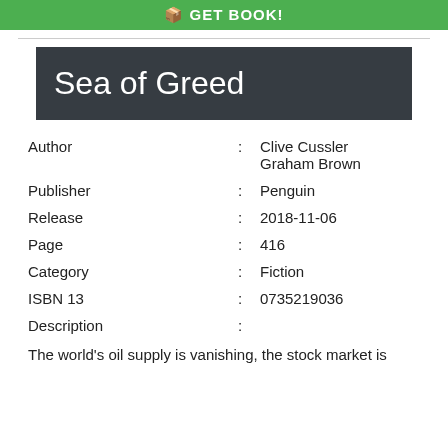[Figure (other): Green GET BOOK button bar at top]
Sea of Greed
| Author | : | Clive Cussler
Graham Brown |
| Publisher | : | Penguin |
| Release | : | 2018-11-06 |
| Page | : | 416 |
| Category | : | Fiction |
| ISBN 13 | : | 0735219036 |
| Description | : |  |
The world's oil supply is vanishing, the stock market is